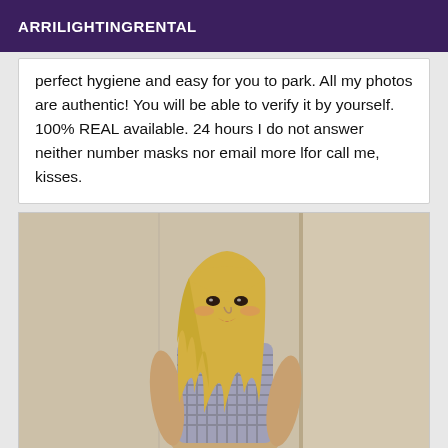ARRILIGHTINGRENTAL
perfect hygiene and easy for you to park. All my photos are authentic! You will be able to verify it by yourself. 100% REAL available. 24 hours I do not answer neither number masks nor email more lfor call me, kisses.
[Figure (photo): A blonde woman in a checkered dress posing against a light wall]